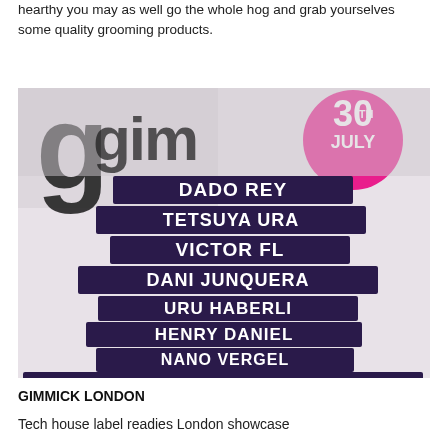hearthy you may as well go the whole hog and grab yourselves some quality grooming products.
[Figure (illustration): Event flyer for Gimmick London showing DJ names: Dado Rey, Tetsuya Ura, Victor Fl, Dani Junquera, Uru Haberli, Henry Daniel, Nano Vergel, Elijah Collins aka JNR J, DB 24, Johnson. Date shown as 30th July in a pink circle. Background is white/grey with stylized graffiti-style text.]
GIMMICK LONDON
Tech house label readies London showcase